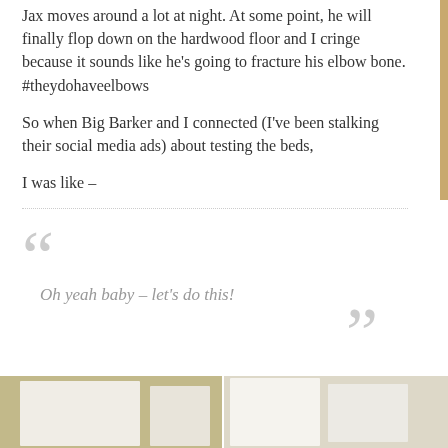Jax moves around a lot at night. At some point, he will finally flop down on the hardwood floor and I cringe because it sounds like he's going to fracture his elbow bone. #theydohaveelbows
So when Big Barker and I connected (I've been stalking their social media ads) about testing the beds,
I was like –
Oh yeah baby – let's do this!
Two large sofa editions arrived a few days later, and as you can see Jax joined me in my excitement...
[Figure (photo): Bottom strip of a photo showing what appears to be large dog bed boxes or packaging in a room with light yellow walls.]